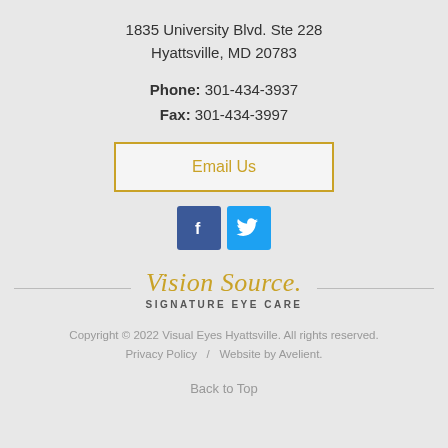1835 University Blvd. Ste 228
Hyattsville, MD 20783
Phone: 301-434-3937
Fax: 301-434-3997
Email Us
[Figure (logo): Facebook and Twitter social media icons]
[Figure (logo): Vision Source Signature Eye Care logo with script text and divider lines]
Copyright © 2022 Visual Eyes Hyattsville. All rights reserved.
Privacy Policy   /   Website by Avelient.
Back to Top